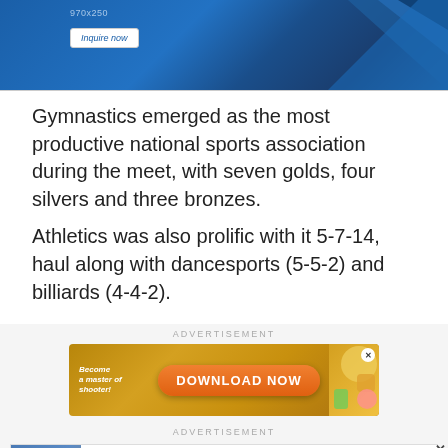[Figure (other): Blue geometric banner advertisement with triangular shapes, showing '970x250' size label and an 'Inquire now' button]
Gymnastics emerged as the most productive national sports association during the meet, with seven golds, four silvers and three bronzes.
Athletics was also prolific with it 5-7-14, haul along with dancesports (5-5-2) and billiards (4-4-2).
ADVERTISEMENT
[Figure (other): Game advertisement banner with golden/orange background, 'Become a master of shooter!' text on left, large orange 'DOWNLOAD NOW' button in center, colorful game imagery on right, close X button top right]
ADVERTISEMENT
[Figure (other): Ad banner showing 'Book A Demo Today' with a person in business attire, ad label and navigation icons]
[Figure (other): Nota app promo card with 'Book A Demo Today' title and blue OPEN button, with X and play icons at bottom left]